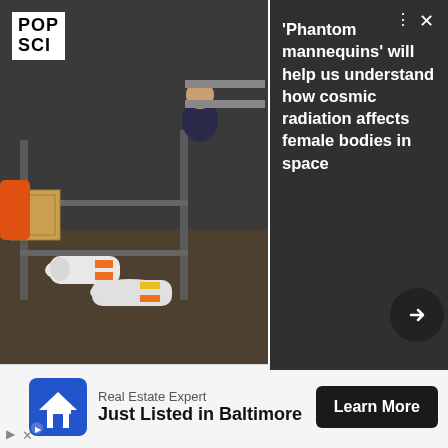[Figure (photo): Photo of people working with mannequins/equipment on a boat or ship deck, with dark industrial background. POP SCI logo overlay in top left. Dark panel overlay on right showing article title about phantom mannequins and cosmic radiation.]
an hour because they will make up the revenue in tips,
and prohibiting tips from being distributed among members of the kitchen staff. Ofer Azar, an economist who has written extensively about tipping, explains the cyclical phenomenon this way: "[P]eople start to tip certain workers, the employers of these workers reduce their wages (they can do so because the worker receives part of his reservation wage from
[Figure (infographic): Advertisement banner at the bottom: 'Real Estate Expert / Just Listed in Baltimore' with a house icon and 'Learn More' button]